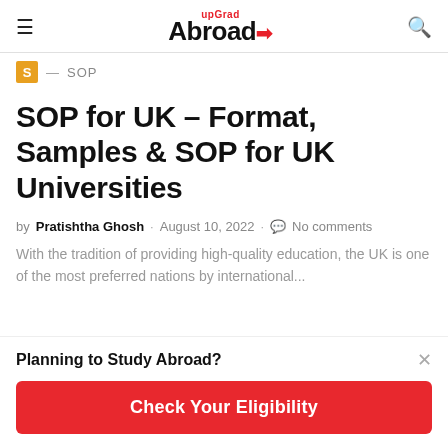upGrad Abroad
S — SOP
SOP for UK – Format, Samples & SOP for UK Universities
by Pratishtha Ghosh · August 10, 2022 · No comments
With the tradition of providing high-quality education, the UK is one of the most preferred nations by international...
Planning to Study Abroad?
Check Your Eligibility